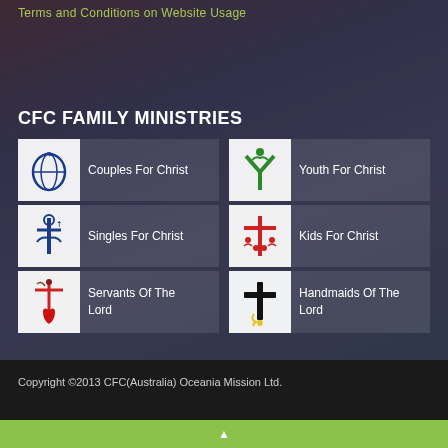Terms and Conditions on Website Usage
CFC FAMILY MINISTRIES
[Figure (logo): Couples For Christ logo - blue circular symbol with dove]
Couples For Christ
[Figure (logo): Youth For Christ logo - green Y-shape with figure]
Youth For Christ
[Figure (logo): Singles For Christ logo - blue stylized figure with cross]
Singles For Christ
[Figure (logo): Kids For Christ logo - red cross with children figures]
Kids For Christ
[Figure (logo): Servants Of The Lord logo - red cross with heart and figure]
Servants Of The Lord
[Figure (logo): Handmaids Of The Lord logo - black cross with yellow flame]
Handmaids Of The Lord
Copyright ©2013 CFC(Australia) Oceania Mission Ltd.